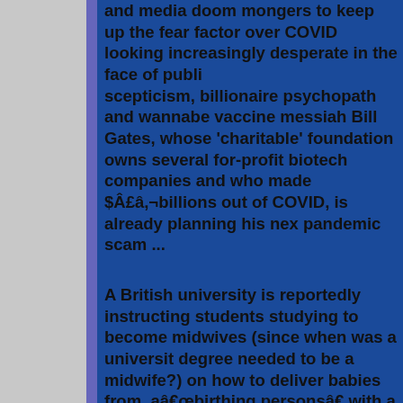and media doom mongers to keep up the fear factor over COVID looking increasingly desperate in the face of public scepticism, billionaire psychopath and wannabe vaccine messiah Bill Gates, whose 'charitable' foundation owns several for-profit biotech companies and who made $Â£â,¬billions out of COVID, is already planning his next pandemic scam ...
A British university is reportedly instructing students studying to become midwives (since when was a university degree needed to be a midwife?) on how to deliver babies from aâ€œbirthing personsâ€ with a penis.
Edinburgh Napier University's 'skills workbook' issued to midwifery BSc students has come under fire from the sane community in Scotland after it was revealed that students were instructed on how to assist biological males in giving birth. Now you might think that anybody sudying towards a degree in any of the natural or applied sciences would be